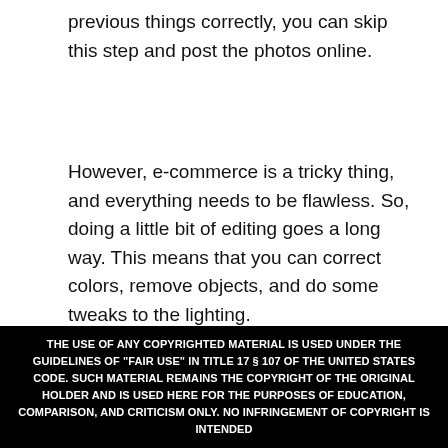previous things correctly, you can skip this step and post the photos online.
However, e-commerce is a tricky thing, and everything needs to be flawless. So, doing a little bit of editing goes a long way. This means that you can correct colors, remove objects, and do some tweaks to the lighting.
Photo Optimization
THE USE OF ANY COPYRIGHTED MATERIAL IS USED UNDER THE GUIDELINES OF "FAIR USE" IN TITLE 17 § 107 OF THE UNITED STATES CODE. SUCH MATERIAL REMAINS THE COPYRIGHT OF THE ORIGINAL HOLDER AND IS USED HERE FOR THE PURPOSES OF EDUCATION, COMPARISON, AND CRITICISM ONLY. NO INFRINGEMENT OF COPYRIGHT IS INTENDED